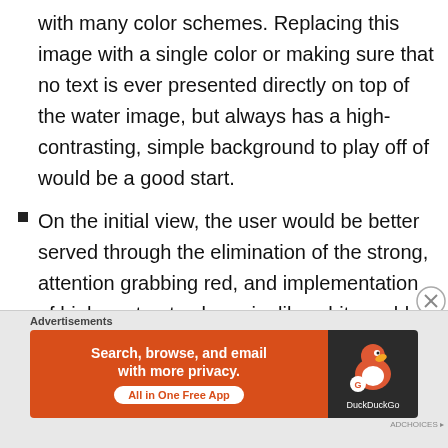with many color schemes. Replacing this image with a single color or making sure that no text is ever presented directly on top of the water image, but always has a high-contrasting, simple background to play off of would be a good start.
On the initial view, the user would be better served through the elimination of the strong, attention grabbing red, and implementation of high contrast color pairs like white on blue or black on white.
On the secondary view, as red did not play well with blue, neither does yellow. Here too, the user will benefit from experiencing higher contrasting text; but, my preference remains eliminating or masking the water
[Figure (other): DuckDuckGo advertisement banner: 'Search, browse, and email with more privacy. All in One Free App' with DuckDuckGo duck logo on dark background]